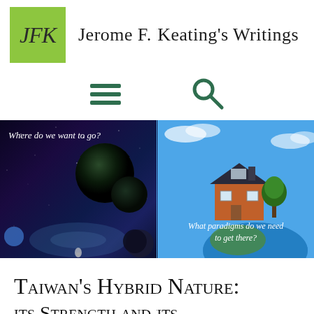[Figure (logo): JFK logo — green square with cursive JFK initials, followed by site title 'Jerome F. Keating's Writings']
[Figure (infographic): Navigation bar with hamburger menu icon (three green horizontal bars) and search icon (green magnifying glass)]
[Figure (photo): Two-panel hero image. Left panel: dark space/galaxy scene with planets and astronaut, captioned 'Where do we want to go?'. Right panel: house on floating earth chunk against blue sky, captioned 'What paradigms do we need to get there?']
Taiwan's Hybrid Nature: its Strength and its...